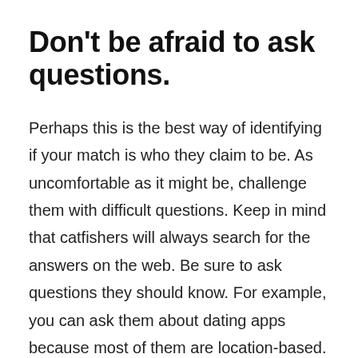Don't be afraid to ask questions.
Perhaps this is the best way of identifying if your match is who they claim to be. As uncomfortable as it might be, challenge them with difficult questions. Keep in mind that catfishers will always search for the answers on the web. Be sure to ask questions they should know. For example, you can ask them about dating apps because most of them are location-based. If they are unable to answer, they could be giving false information. And if they claim to live nearby, ask something about the local landmarks.